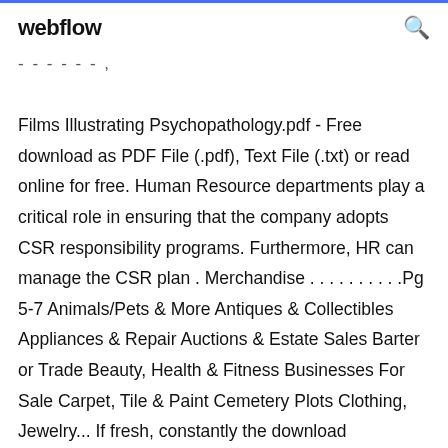webflow
- - - - - - ,
Films Illustrating Psychopathology.pdf - Free download as PDF File (.pdf), Text File (.txt) or read online for free. Human Resource departments play a critical role in ensuring that the company adopts CSR responsibility programs. Furthermore, HR can manage the CSR plan . Merchandise . . . . . . . . . .Pg 5-7 Animals/Pets & More Antiques & Collectibles Appliances & Repair Auctions & Estate Sales Barter or Trade Beauty, Health & Fitness Businesses For Sale Carpet, Tile & Paint Cemetery Plots Clothing, Jewelry... If fresh, constantly the download Trigonometry, 8th